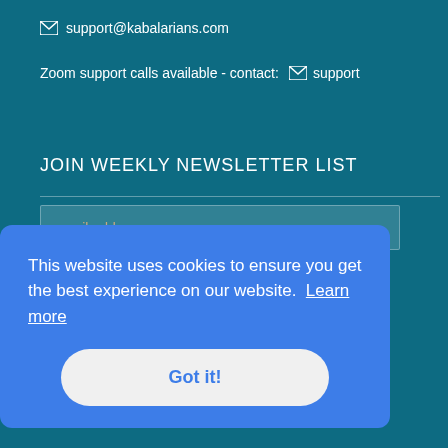support@kabalarians.com
Zoom support calls available - contact: support
JOIN WEEKLY NEWSLETTER LIST
email address
SUBSCRIBE
This website uses cookies to ensure you get the best experience on our website. Learn more
Got it!